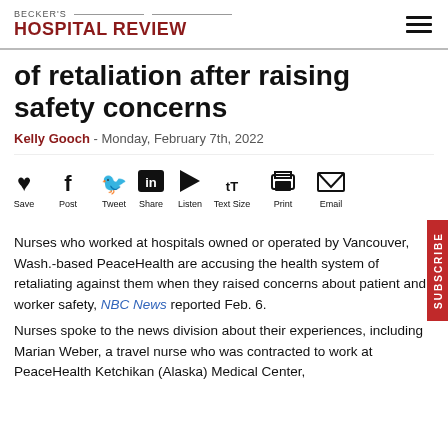BECKER'S HOSPITAL REVIEW
of retaliation after raising safety concerns
Kelly Gooch - Monday, February 7th, 2022
[Figure (infographic): Social sharing toolbar with icons: Save (heart), Post (Facebook f), Tweet (Twitter bird), Share (LinkedIn in), Listen (play button), Text Size (Tt), Print (printer), Email (envelope)]
Nurses who worked at hospitals owned or operated by Vancouver, Wash.-based PeaceHealth are accusing the health system of retaliating against them when they raised concerns about patient and worker safety, NBC News reported Feb. 6.
Nurses spoke to the news division about their experiences, including Marian Weber, a travel nurse who was contracted to work at PeaceHealth Ketchikan (Alaska) Medical Center,